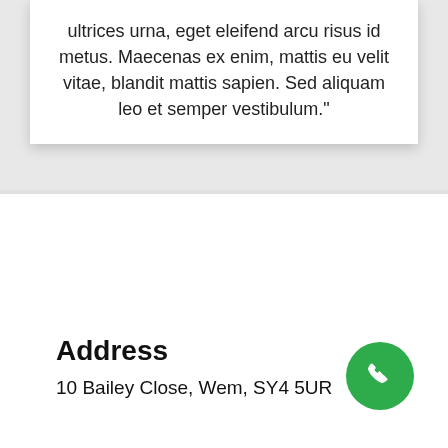ultrices urna, eget eleifend arcu risus id metus. Maecenas ex enim, mattis eu velit vitae, blandit mattis sapien. Sed aliquam leo et semper vestibulum."
Address
10 Bailey Close, Wem, SY4 5UR